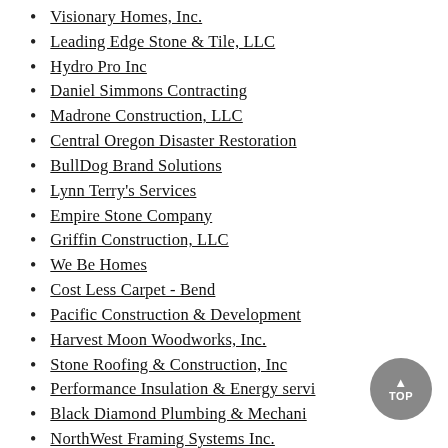Visionary Homes, Inc.
Leading Edge Stone & Tile, LLC
Hydro Pro Inc
Daniel Simmons Contracting
Madrone Construction, LLC
Central Oregon Disaster Restoration
BullDog Brand Solutions
Lynn Terry's Services
Empire Stone Company
Griffin Construction, LLC
We Be Homes
Cost Less Carpet - Bend
Pacific Construction & Development
Harvest Moon Woodworks, Inc.
Stone Roofing & Construction, Inc
Performance Insulation & Energy servi…
Black Diamond Plumbing & Mechani…
NorthWest Framing Systems Inc.
Trueline Capital